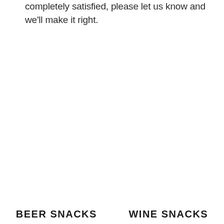completely satisfied, please let us know and we'll make it right.
BEER SNACKS
WINE SNACKS